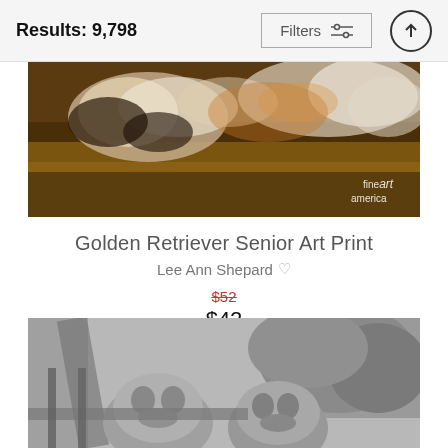Results: 9,798
[Figure (photo): Painting of a Golden Retriever dog lying down, colorful oil painting style with 'fine art america' watermark in lower right]
Golden Retriever Senior Art Print
Lee Ann Shepard ♡
$52 (strikethrough) $42
[Figure (photo): Black and white photograph of two Labrador/Golden Retriever dogs looking over a wooden fence with foliage in background]